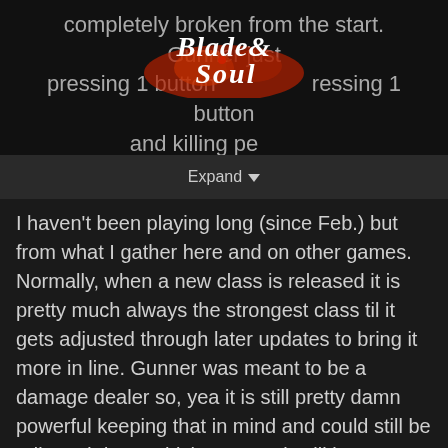[Figure (screenshot): Blade & Soul game forum header with dark background, partially visible text about Gunner class, and the Blade & Soul logo overlaid in the center]
Expand
I haven't been playing long (since Feb.) but from what I gather here and on other games. Normally, when a new class is released it is pretty much always the strongest class til it gets adjusted through later updates to bring it more in line. Gunner was meant to be a damage dealer so, yea it is still pretty damn powerful keeping that in mind and could still be adjusted down which I'm sure it will be eventually much like Warden. As for the gear, that was a year ago and I'm sure you grinding that stuff for the gear...the gear was still new and fresh well at least not as older as it is now. Things are moving along in the game updates as we catch up to KR which had the game out for almost double the amount of time we have had so it really